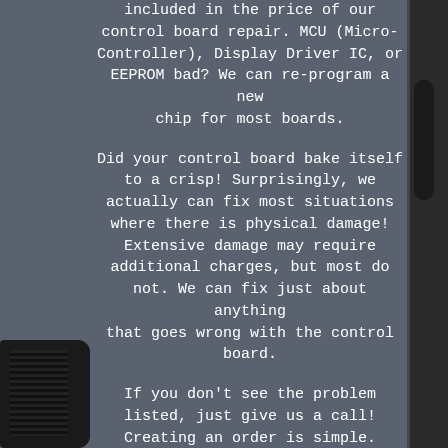included in the price of our control board repair. MCU (Micro-Controller), Display Driver IC, or EEPROM bad? We can re-program a new chip for most boards.
Did your control board bake itself to a crisp! Surprisingly, we actually can fix most situations where there is physical damage! Extensive damage may require additional charges, but most do not. We can fix just about anything that goes wrong with the control board.
If you don't see the problem listed, just give us a call! Creating an order is simple.
Type your part number into the search box and add the service to your shopping cart. From there follow the onscreen prompts. It takes about 5 minutes or less to